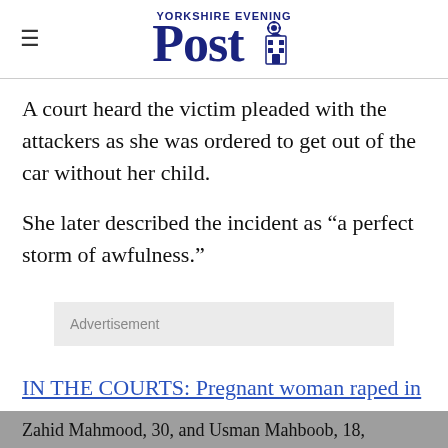Yorkshire Evening Post
A court heard the victim pleaded with the attackers as she was ordered to get out of the car without her child.
She later described the incident as “a perfect storm of awfulness.”
Advertisement
IN THE COURTS: Pregnant woman raped in own bed by predator who climbed in through window
Zahid Mahmood, 30, and Usman Mahboob, 18,